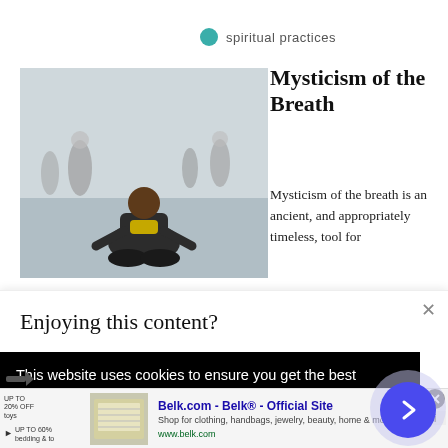spiritual practices
Mysticism of the Breath
[Figure (photo): Person meditating outdoors in a busy street, sitting cross-legged with people walking in background]
Mysticism of the breath is an ancient, and appropriately timeless, tool for
×
Enjoying this content?
Get this article and many more delivered straight to
This website uses cookies to ensure you get the best experience on our website. Learn More
[Figure (screenshot): Advertisement banner for Belk.com - Belk Official Site showing clothing/bedding thumbnail and text: Shop for clothing, handbags, jewelry, beauty, home & more! www.belk.com]